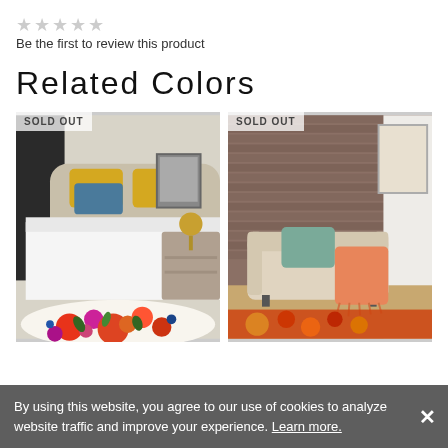★★★★★
Be the first to review this product
Related Colors
[Figure (photo): Bedroom scene with white bed, yellow and blue pillows, floral rug with red, orange, and pink flowers. SOLD OUT badge in top left corner.]
[Figure (photo): Living room corner with beige sofa, teal pillow, orange/salmon throw blanket, brick wall in background, partial view of colorful rug. SOLD OUT badge in top left corner.]
By using this website, you agree to our use of cookies to analyze website traffic and improve your experience. Learn more.